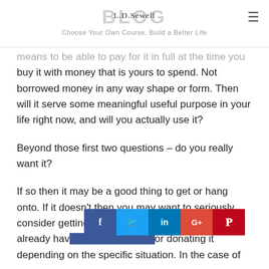BLOG | L.D.Sewell | Choose Your Own Course, Build a Better Life
means to be able to pay for it in full at the time you buy it with money that is yours to spend. Not borrowed money in any way shape or form. Then will it serve some meaningful useful purpose in your life right now, and will you actually use it?
Beyond those first two questions – do you really want it?
If so then it may be a good thing to get or hang onto. If it doesn't then you may want to seriously consider getting rid of it. In the case of things you already have, you may want to consider selling or donating it depending on the specific situation. In the case of